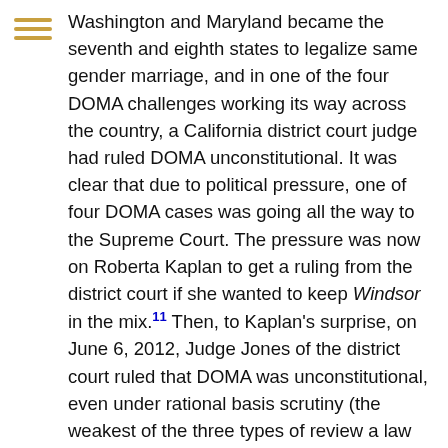[Figure (other): Hamburger menu icon with three horizontal golden/yellow lines]
Washington and Maryland became the seventh and eighth states to legalize same gender marriage, and in one of the four DOMA challenges working its way across the country, a California district court judge had ruled DOMA unconstitutional. It was clear that due to political pressure, one of four DOMA cases was going all the way to the Supreme Court. The pressure was now on Roberta Kaplan to get a ruling from the district court if she wanted to keep Windsor in the mix.11 Then, to Kaplan's surprise, on June 6, 2012, Judge Jones of the district court ruled that DOMA was unconstitutional, even under rational basis scrutiny (the weakest of the three types of review a law can undergo). Immediately following this, Republicans in Congress pressured BLAG to appeal.
On September 27, 2012, the case went before